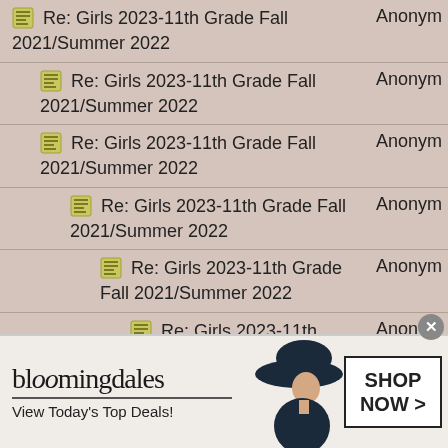Re: Girls 2023-11th Grade Fall 2021/Summer 2022 — Anonym
Re: Girls 2023-11th Grade Fall 2021/Summer 2022 — Anonym
Re: Girls 2023-11th Grade Fall 2021/Summer 2022 — Anonym
Re: Girls 2023-11th Grade Fall 2021/Summer 2022 — Anonym
Re: Girls 2023-11th Grade Fall 2021/Summer 2022 — Anonym
Re: Girls 2023-11th Grade Fall 2021/Summer 2022 — Anonym
Re: Girls 2023-11th Grade Fall 2021/Summer 2022 — Anonym
Re: Girls 2023-11th Grade Fall 2021/Summer 2022 — Anonym
[Figure (illustration): Bloomingdale's advertisement banner: logo, 'View Today's Top Deals!', woman with hat, SHOP NOW button]